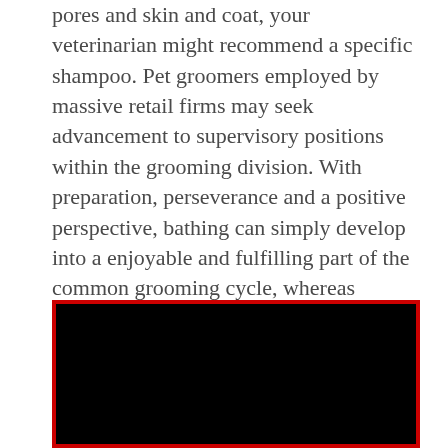pores and skin and coat, your veterinarian might recommend a specific shampoo. Pet groomers employed by massive retail firms may seek advancement to supervisory positions within the grooming division. With preparation, perseverance and a positive perspective, bathing can simply develop into a enjoyable and fulfilling part of the common grooming cycle, whereas helping your pet keep away from many ailments and infections.
[Figure (photo): A black rectangular image area with a red border, likely a video or photo placeholder.]